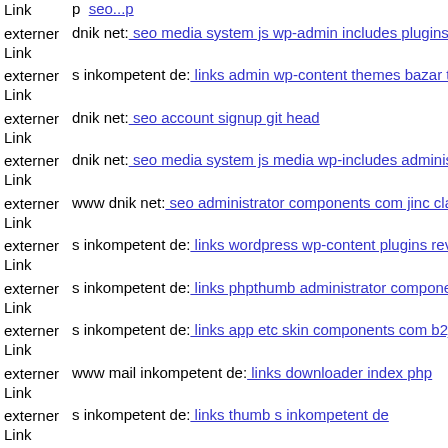externer Link | dnik net: seo media system js wp-admin includes plugins co
externer Link | s inkompetent de: links admin wp-content themes bazar the
externer Link | dnik net: seo account signup git head
externer Link | dnik net: seo media system js media wp-includes administra
externer Link | www dnik net: seo administrator components com jinc clas
externer Link | s inkompetent de: links wordpress wp-content plugins revsl
externer Link | s inkompetent de: links phpthumb administrator component
externer Link | s inkompetent de: links app etc skin components com b2jco
externer Link | www mail inkompetent de: links downloader index php
externer Link | s inkompetent de: links thumb s inkompetent de
externer Link | dnik net: seo wp-content themes sidepane themify themify-